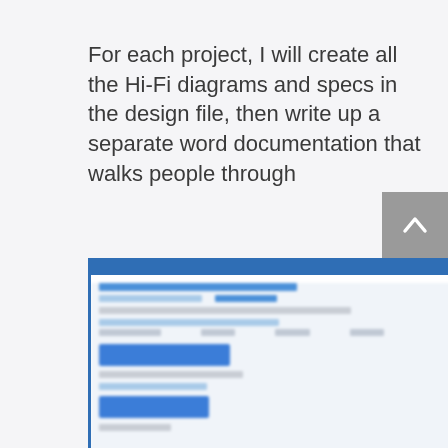For each project, I will create all the Hi-Fi diagrams and specs in the design file, then write up a separate word documentation that walks people through
- related projects
- project overview
- user goals
- user flow
- detailed interactions
[Figure (screenshot): A blurred screenshot of a word document or specification document with blue header bar and blue UI elements visible]